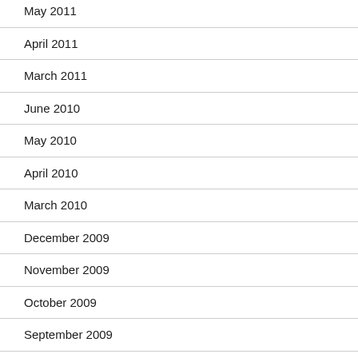May 2011
April 2011
March 2011
June 2010
May 2010
April 2010
March 2010
December 2009
November 2009
October 2009
September 2009